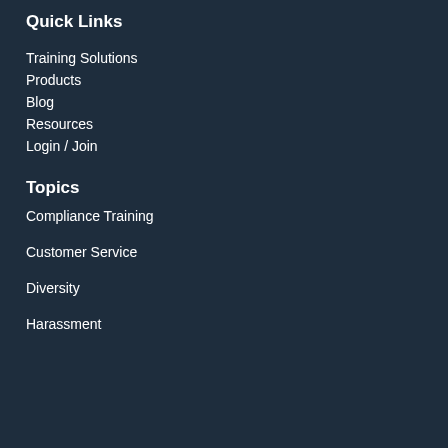Quick Links
Training Solutions
Products
Blog
Resources
Login / Join
Topics
Compliance Training
Customer Service
Diversity
Harassment